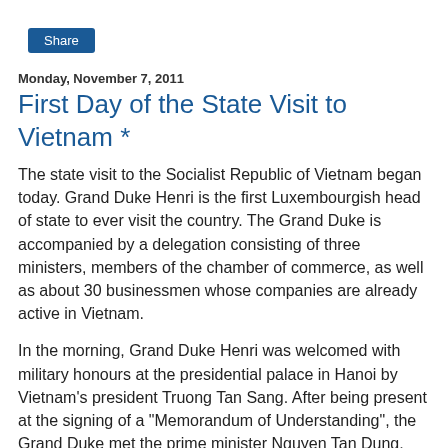[Figure (other): Share button (blue rectangle with white 'Share' text)]
Monday, November 7, 2011
First Day of the State Visit to Vietnam *
The state visit to the Socialist Republic of Vietnam began today. Grand Duke Henri is the first Luxembourgish head of state to ever visit the country. The Grand Duke is accompanied by a delegation consisting of three ministers, members of the chamber of commerce, as well as about 30 businessmen whose companies are already active in Vietnam.
In the morning, Grand Duke Henri was welcomed with military honours at the presidential palace in Hanoi by Vietnam's president Truong Tan Sang. After being present at the signing of a "Memorandum of Understanding", the Grand Duke met the prime minister Nguyen Tan Dung, the president of the national assembly Nguyen Sinh Hung and the general secretary of the communist party Nguyen Phu T...